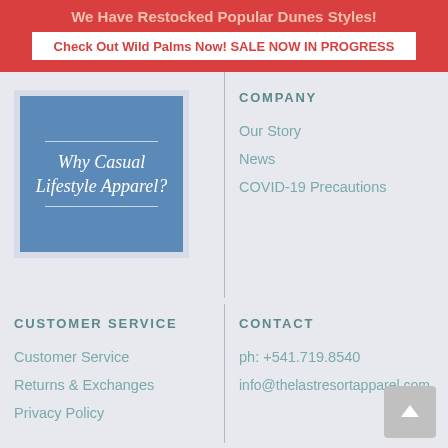We Have Restocked Popular Dunes Styles!
Check Out Wild Palms Now! SALE NOW IN PROGRESS
[Figure (illustration): Blue box with italic serif text reading 'Why Casual Lifestyle Apparel?' with decorative horizontal lines above and below the text]
COMPANY
Our Story
News
COVID-19 Precautions
CUSTOMER SERVICE
Customer Service
Returns & Exchanges
Privacy Policy
CONTACT
ph: +541.719.8540
info@thelastresortapparel.com